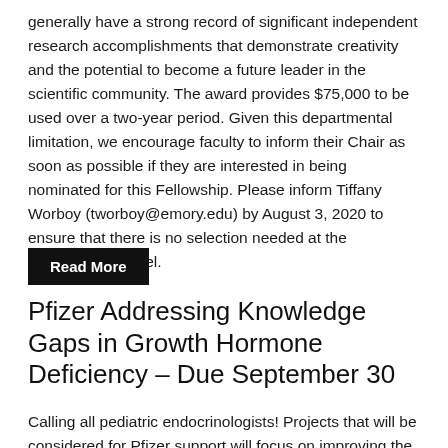generally have a strong record of significant independent research accomplishments that demonstrate creativity and the potential to become a future leader in the scientific community. The award provides $75,000 to be used over a two-year period. Given this departmental limitation, we encourage faculty to inform their Chair as soon as possible if they are interested in being nominated for this Fellowship. Please inform Tiffany Worboy (tworboy@emory.edu) by August 3, 2020 to ensure that there is no selection needed at the Departmental level.
Read More
Pfizer Addressing Knowledge Gaps in Growth Hormone Deficiency – Due September 30
Calling all pediatric endocrinologists! Projects that will be considered for Pfizer support will focus on improving the understanding of the safety and efficacy of growth hormone (GH)